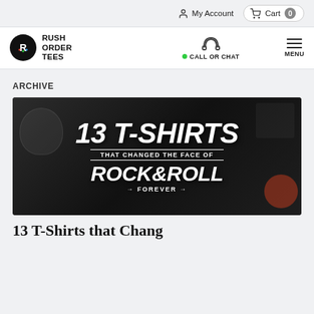My Account  Cart 0
RUSH ORDER TEES  CALL OR CHAT  MENU
ARCHIVE
[Figure (photo): Dark photographic banner with overlaid bold white text reading: 13 T-SHIRTS / THAT CHANGED THE FACE OF / ROCK & ROLL / FOREVER. Background shows various band t-shirts including CBGB, Aerosmith, Rolling Stones, Led Zeppelin.]
13 T-Shirts that Chang